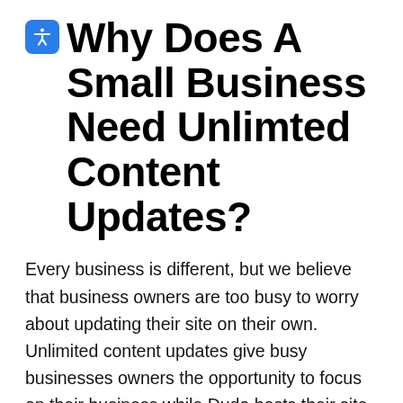Why Does A Small Business Need Unlimted Content Updates?
Every business is different, but we believe that business owners are too busy to worry about updating their site on their own. Unlimited content updates give busy businesses owners the opportunity to focus on their business while Duda hosts their site and we provide content updates for them. The Duda website builder is great, but having a team ready to update your site 24/7 is even